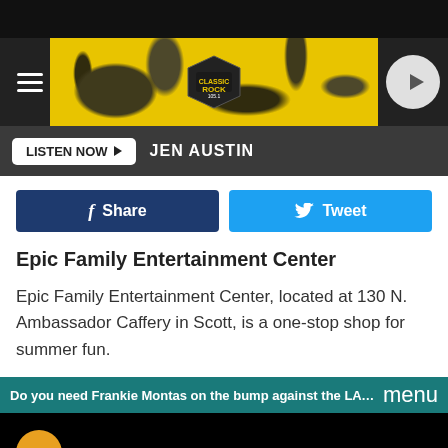[Figure (screenshot): Classic Rock 105.1 radio station website banner with yellow and black grunge background, hamburger menu icon on left, Classic Rock logo in center, play button on right]
[Figure (screenshot): Listen Now button bar with dark background, white Listen Now button with play arrow, and JEN AUSTIN text in white]
[Figure (screenshot): Facebook Share and Twitter Tweet social sharing buttons]
Epic Family Entertainment Center
Epic Family Entertainment Center, located at 130 N. Ambassador Caffery in Scott, is a one-stop shop for summer fun.
[Figure (screenshot): Video player area with teal ticker bar showing text 'Do you need Frankie Montas on the bump against the LA ...' and menu text, below is a black video player area with a gold VO circle icon]